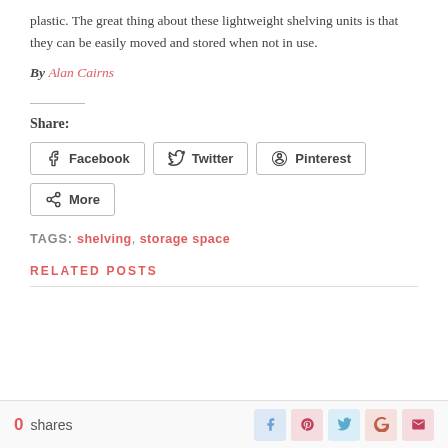plastic. The great thing about these lightweight shelving units is that they can be easily moved and stored when not in use.
By Alan Cairns
Share:
Facebook
Twitter
Pinterest
More
TAGS: shelving, storage space
RELATED POSTS
0 shares